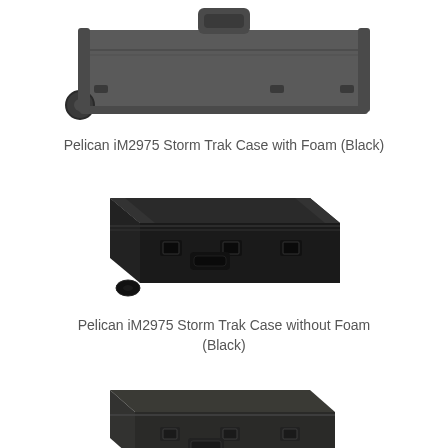[Figure (photo): Top view of a dark gray/black Pelican iM2975 Storm Trak Case with wheels and handle visible, showing the lid top.]
Pelican iM2975 Storm Trak Case with Foam (Black)
[Figure (photo): Isometric/three-quarter view of a black Pelican iM2975 Storm Trak Case with foam, showing latches, handle, and wheels on the side.]
Pelican iM2975 Storm Trak Case without Foam (Black)
[Figure (photo): Isometric/three-quarter view of a dark gray Pelican iM2975 Storm Trak Case without foam, partially visible at bottom of page.]